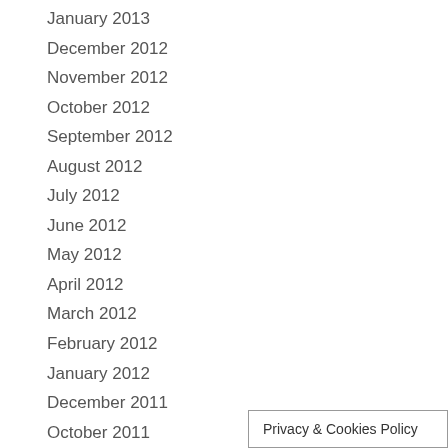January 2013
December 2012
November 2012
October 2012
September 2012
August 2012
July 2012
June 2012
May 2012
April 2012
March 2012
February 2012
January 2012
December 2011
October 2011
Privacy & Cookies Policy